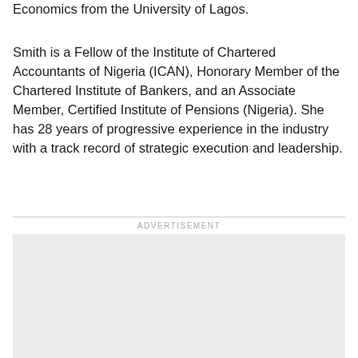Economics from the University of Lagos.
Smith is a Fellow of the Institute of Chartered Accountants of Nigeria (ICAN), Honorary Member of the Chartered Institute of Bankers, and an Associate Member, Certified Institute of Pensions (Nigeria). She has 28 years of progressive experience in the industry with a track record of strategic execution and leadership.
[Figure (other): Advertisement placeholder box with 'ADVERTISEMENT' label above it]